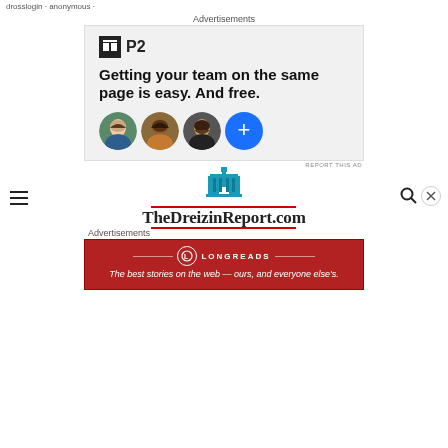drosslogin · anonymous ·
Advertisements
[Figure (illustration): P2 advertisement banner with logo, tagline 'Getting your team on the same page is easy. And free.' and three user avatars plus a blue plus circle button]
REPORT THIS AD
[Figure (logo): TheDreizinReport.com site logo with blue capitol building icon and red double-line borders above and below the text]
Advertisements
[Figure (illustration): Longreads advertisement banner in dark red: logo circle with L, brand name LONGREADS, tagline 'The best stories on the web — ours, and everyone else's.']